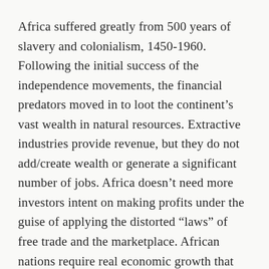Africa suffered greatly from 500 years of slavery and colonialism, 1450-1960. Following the initial success of the independence movements, the financial predators moved in to loot the continent's vast wealth in natural resources. Extractive industries provide revenue, but they do not add/create wealth or generate a significant number of jobs. Africa doesn't need more investors intent on making profits under the guise of applying the distorted “laws” of free trade and the marketplace. African nations require real economic growth that creates added value, increases the total wealth of society, and provides productive jobs to the restless masses of unemployed youth.